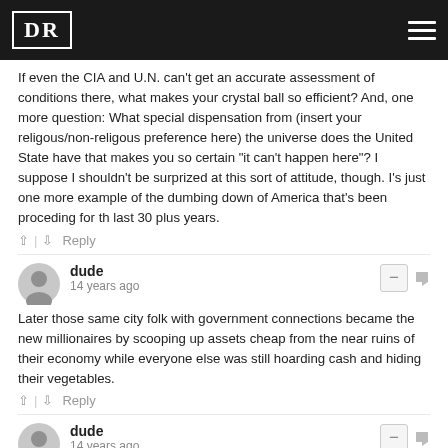DR [logo] with hamburger menu
If even the CIA and U.N. can't get an accurate assessment of conditions there, what makes your crystal ball so efficient? And, one more question: What special dispensation from (insert your religous/non-religous preference here) the universe does the United State have that makes you so certain "it can't happen here"? I suppose I shouldn't be surprized at this sort of attitude, though. I's just one more example of the dumbing down of America that's been proceding for th last 30 plus years.
^ | v  Reply
dude
14 years ago
Later those same city folk with government connections became the new millionaires by scooping up assets cheap from the near ruins of their economy while everyone else was still hoarding cash and hiding their vegetables.
^ | v  Reply
dude
14 years ago